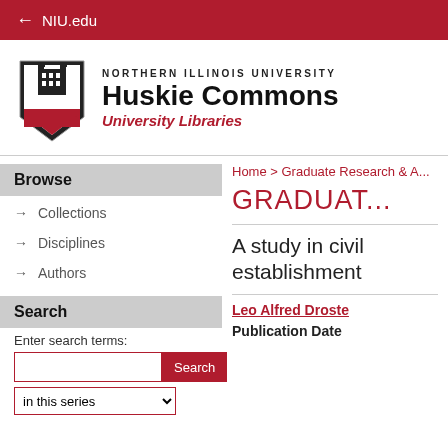← NIU.edu
[Figure (logo): Northern Illinois University NIU shield logo with Huskie Commons University Libraries wordmark]
Home > Graduate Research & A...
GRADUAT...
Browse
→ Collections
→ Disciplines
→ Authors
Search
Enter search terms:
in this series
A study in civil establishment
Leo Alfred Droste
Publication Date